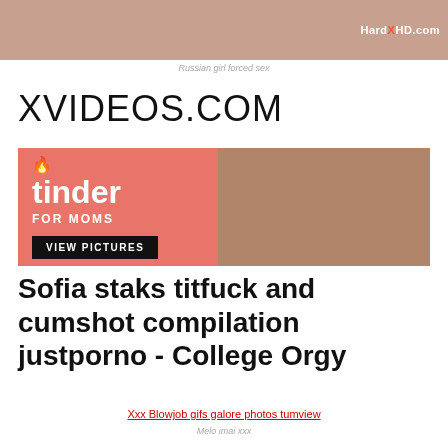[Figure (photo): Adult content image with HardXHD.com watermark]
Russian girl forced sex
XVIDEOS.COM
[Figure (infographic): Tinder For Moms advertisement banner with VIEW PICTURES button and adult content photo]
Sofia staks titfuck and cumshot compilation justporno - College Orgy
Xxx Blowjob gifs galore photos tumview
Melo imai xxx